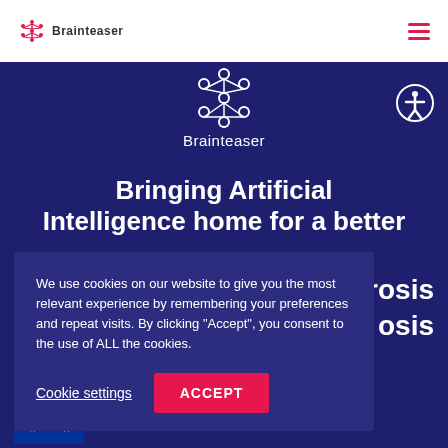Brainteaser logo and navigation
[Figure (logo): Brainteaser logo: pink neural-network style icon with text 'Brainteaser' below, centered on dark blue background]
Bringing Artificial Intelligence home for a better [lerosis] [osis]
We use cookies on our website to give you the most relevant experience by remembering your preferences and repeat visits. By clicking "Accept", you consent to the use of ALL the cookies.
Cookie settings | ACCEPT